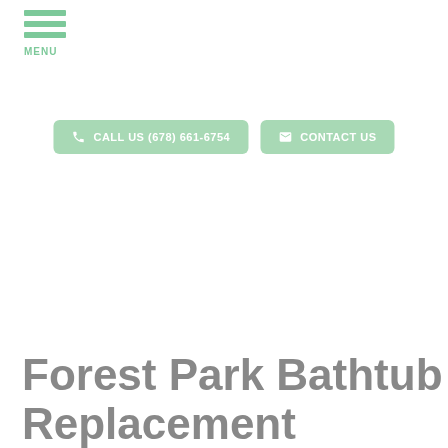MENU
CALL US (678) 661-6754  CONTACT US
Forest Park Bathtub Replacement